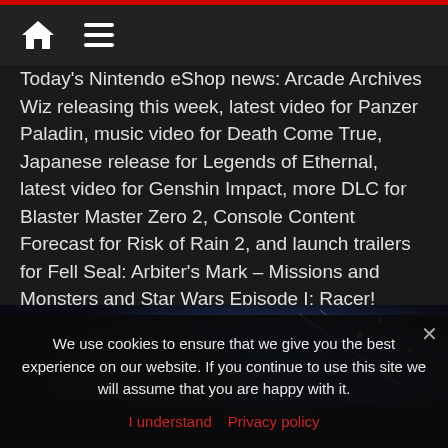Home / Menu navigation bar
Today's Nintendo eShop news: Arcade Archives Wiz releasing this week, latest video for Panzer Paladin, music video for Death Come True, Japanese release for Legends of Ethernal, latest video for Genshin Impact, more DLC for Blaster Master Zero 2, Console Content Forecast for Risk of Rain 2, and launch trailers for Fell Seal: Arbiter's Mark – Missions and Monsters and Star Wars Episode I: Racer!
Read more
[Figure (screenshot): Dark video game scene thumbnail preview]
We use cookies to ensure that we give you the best experience on our website. If you continue to use this site we will assume that you are happy with it. I understand  Privacy policy